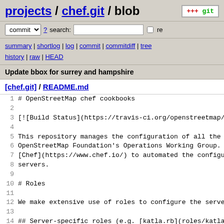projects / chef.git / blob
commit ? search: re
summary | shortlog | log | commit | commitdiff | tree history | raw | HEAD
Update bbox for surrey and hampshire
[chef.git] / README.md
1 # OpenStreetMap chef cookbooks
2
3 [![Build Status](https://travis-ci.org/openstreetmap/ch
4
5 This repository manages the configuration of all the se
6 OpenStreetMap Foundation's Operations Working Group. We
7 [Chef](https://www.chef.io/) to automated the configura
8 servers.
9
10 # Roles
11
12 We make extensive use of roles to configure the servers
13
14 ## Server-specific roles (e.g. [katla.rb](roles/katla.r
15
16 These deal with particular setup or quirks of a server,
17 All our servers are [named after dragons](http://wiki.o
18
19 ## Hardware-specific roles (e.g. [tyan-s7010.rb](roles